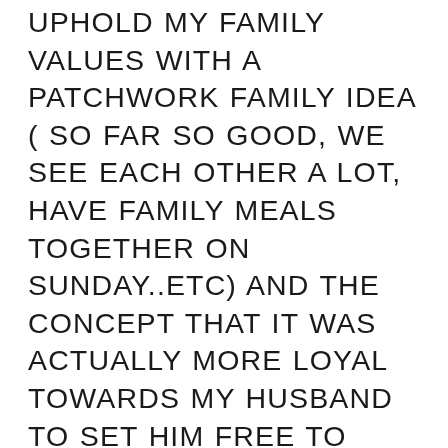UPHOLD MY FAMILY VALUES WITH A PATCHWORK FAMILY IDEA ( SO FAR SO GOOD, WE SEE EACH OTHER A LOT, HAVE FAMILY MEALS TOGETHER ON SUNDAY..ETC) AND THE CONCEPT THAT IT WAS ACTUALLY MORE LOYAL TOWARDS MY HUSBAND TO SET HIM FREE TO FIND MORE ABSOLUTE LOVE ELSEWHERE. (MIRACULOUSLY HE ALREADY HAS FOUND SOMEONE VERY SPECIAL).
SOMETIMES OUR VALUES ARE CLEAR TO US, WE KNOW WHAT WE STAND FOR, OR IN SOME CASES WE KNOW WHAT MAKES US REALLY